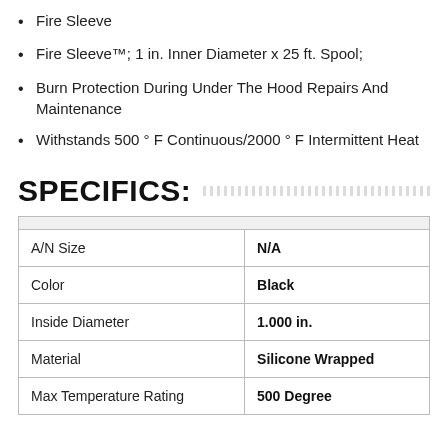Fire Sleeve
Fire Sleeve™; 1 in. Inner Diameter x 25 ft. Spool;
Burn Protection During Under The Hood Repairs And Maintenance
Withstands 500 ° F Continuous/2000 ° F Intermittent Heat
SPECIFICS:
|  |  |
| --- | --- |
| A/N Size | N/A |
| Color | Black |
| Inside Diameter | 1.000 in. |
| Material | Silicone Wrapped |
| Max Temperature Rating | 500 Degree |